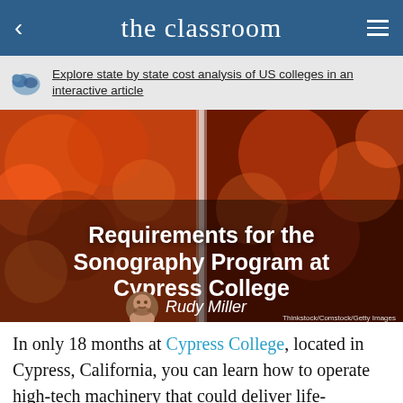the classroom
Explore state by state cost analysis of US colleges in an interactive article
[Figure (photo): Hero image with fiery orange/red blurred background, overlaid with article title 'Requirements for the Sonography Program at Cypress College', author avatar and name 'Rudy Miller', and credit 'Thinkstock/Comstock/Getty Images']
Requirements for the Sonography Program at Cypress College
Rudy Miller
In only 18 months at Cypress College, located in Cypress, California, you can learn how to operate high-tech machinery that could deliver life-